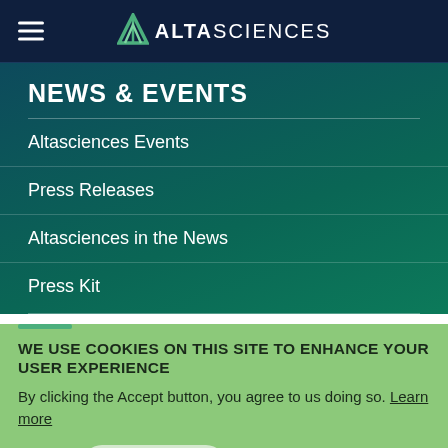ALTASCIENCES
NEWS & EVENTS
Altasciences Events
Press Releases
Altasciences in the News
Press Kit
WE USE COOKIES ON THIS SITE TO ENHANCE YOUR USER EXPERIENCE
By clicking the Accept button, you agree to us doing so. Learn more
Accept  No, thanks